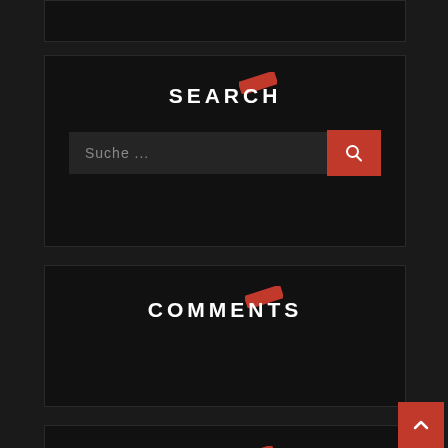[Figure (screenshot): Dark themed website sidebar widget with partial top card, a SEARCH widget with text input and red button, a COMMENTS widget, and a CALENDAR widget showing September 2022. Red accent slashes on each heading. Back-to-top button in bottom right.]
SEARCH
Suche ...
COMMENTS
CALENDAR
September 2022